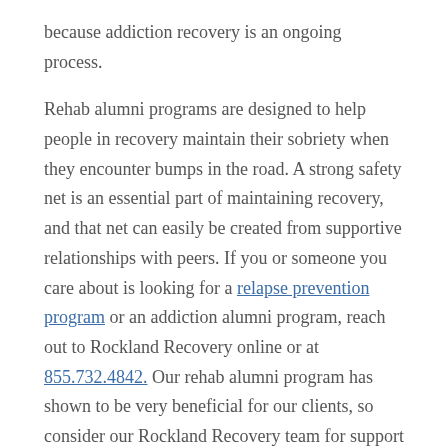because addiction recovery is an ongoing process.
Rehab alumni programs are designed to help people in recovery maintain their sobriety when they encounter bumps in the road. A strong safety net is an essential part of maintaining recovery, and that net can easily be created from supportive relationships with peers. If you or someone you care about is looking for a relapse prevention program or an addiction alumni program, reach out to Rockland Recovery online or at 855.732.4842. Our rehab alumni program has shown to be very beneficial for our clients, so consider our Rockland Recovery team for support and encouragement.
5 Benefits of a Rehab Alumni Program